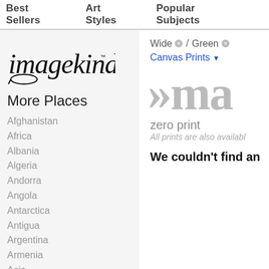Best Sellers   Art Styles   Popular Subjects
[Figure (logo): imagekind logo in handwritten/italic style]
More Places
Afghanistan
Africa
Albania
Algeria
Andorra
Angola
Antarctica
Antigua
Argentina
Armenia
Asia
Australia
Austria
Azerbaijan
Bahamas
Bahrain
Wide × / Green × / ...
Canvas Prints ▼
»ma
zero print
All prints are also available...
We couldn't find an...